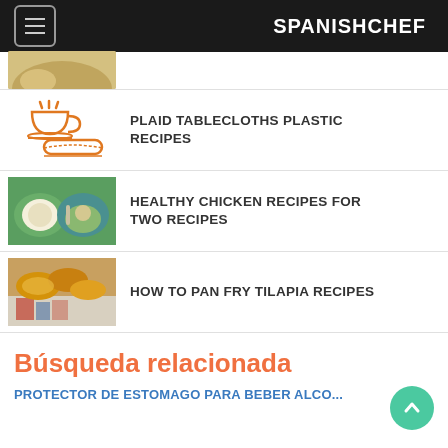SPANISHCHEF
[Figure (photo): Partial view of a bowl of food, cropped at top of page]
PLAID TABLECLOTHS PLASTIC RECIPES
HEALTHY CHICKEN RECIPES FOR TWO RECIPES
HOW TO PAN FRY TILAPIA RECIPES
Búsqueda relacionada
PROTECTOR DE ESTOMAGO PARA BEBER ALCO...